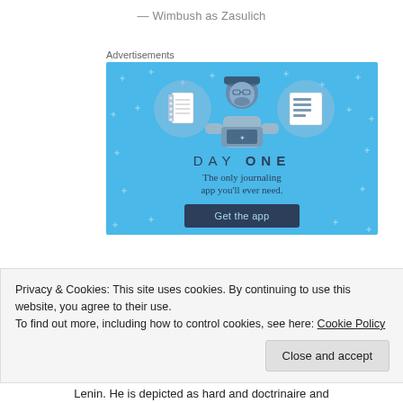— Wimbush as Zasulich
Advertisements
[Figure (illustration): Day One journaling app advertisement. Blue background with sparkle dots, illustrated character holding a phone with two circular icons (notebook and list), text 'DAY ONE', tagline 'The only journaling app you’ll ever need.', and 'Get the app' button.]
Privacy & Cookies: This site uses cookies. By continuing to use this website, you agree to their use.
To find out more, including how to control cookies, see here: Cookie Policy
Lenin. He is depicted as hard and doctrinaire and